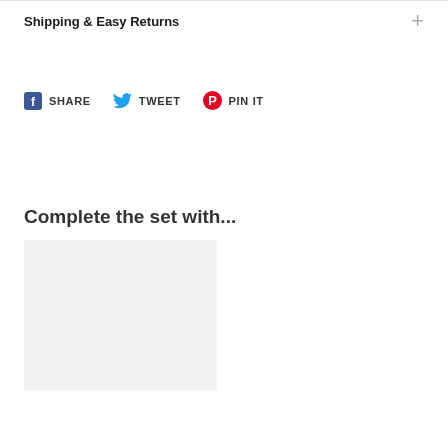Shipping & Easy Returns
SHARE  TWEET  PIN IT
Complete the set with...
[Figure (photo): Product image placeholder — light gray square]